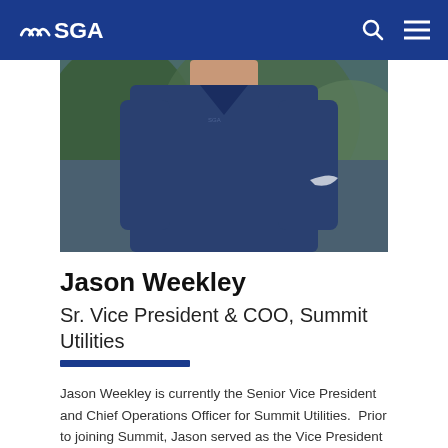SGA
[Figure (photo): Cropped photo of Jason Weekley wearing a navy blue Nike polo shirt, outdoors with greenery in the background.]
Jason Weekley
Sr. Vice President & COO, Summit Utilities
Jason Weekley is currently the Senior Vice President and Chief Operations Officer for Summit Utilities.  Prior to joining Summit, Jason served as the Vice President of Operations for SafeBuilt, a municipal services company operating in 10 states.  Prior to SafeBuilt, Jason served as